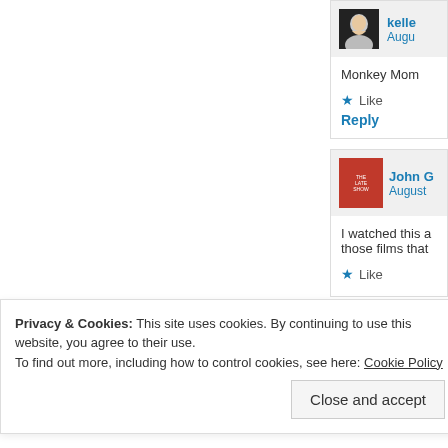[Figure (screenshot): Website comment section showing two user comments. First comment by 'kelle' with a profile photo avatar, posting in 'August', text reads 'Monkey Mom' with Like and Reply options. Second comment by 'John G' with a book cover avatar for 'The Late Show', posting in 'August', text reads 'I watched this a... those films that...' with a Like option and close (X) button.]
Privacy & Cookies: This site uses cookies. By continuing to use this website, you agree to their use.
To find out more, including how to control cookies, see here: Cookie Policy
Close and accept